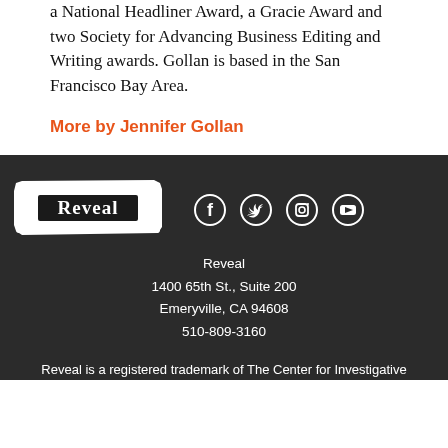a National Headliner Award, a Gracie Award and two Society for Advancing Business Editing and Writing awards. Gollan is based in the San Francisco Bay Area.
More by Jennifer Gollan
[Figure (logo): Reveal logo — white brushstroke rectangle with 'Reveal' text in white on black background]
[Figure (other): Social media icons: Facebook, Twitter, Instagram, YouTube — white on dark background]
Reveal
1400 65th St., Suite 200
Emeryville, CA 94608
510-809-3160
Reveal is a registered trademark of The Center for Investigative